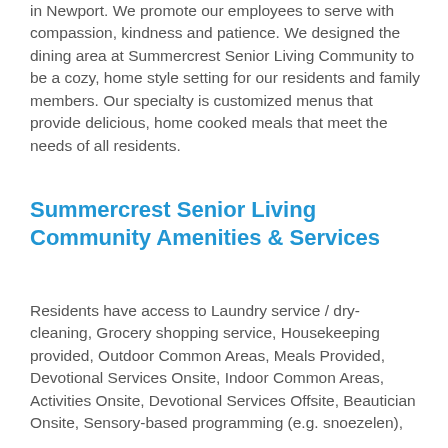in Newport. We promote our employees to serve with compassion, kindness and patience. We designed the dining area at Summercrest Senior Living Community to be a cozy, home style setting for our residents and family members. Our specialty is customized menus that provide delicious, home cooked meals that meet the needs of all residents.
Summercrest Senior Living Community Amenities & Services
Residents have access to Laundry service / dry-cleaning, Grocery shopping service, Housekeeping provided, Outdoor Common Areas, Meals Provided, Devotional Services Onsite, Indoor Common Areas, Activities Onsite, Devotional Services Offsite, Beautician Onsite, Sensory-based programming (e.g. snoezelen),